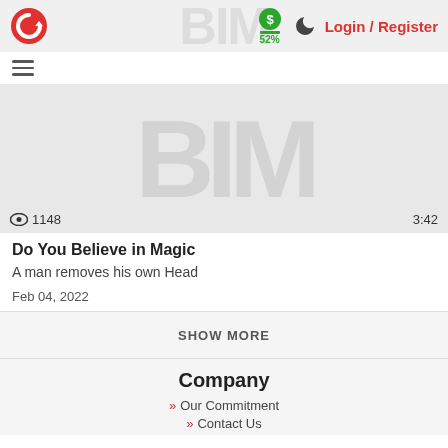[Figure (screenshot): Website header with red circular logo on left, dollar sign icon with 52% in green center, dark moon icon, and Login / Register links in red on right. Gray watermark text 'BIM' in background.]
[Figure (screenshot): Hamburger menu icon (three horizontal lines)]
[Figure (screenshot): Video thumbnail placeholder area with gray background and large watermark text, showing view count 1148 with eye icon on left and timestamp 3:42 on right]
Do You Believe in Magic
A man removes his own Head
Feb 04, 2022
SHOW MORE
Company
Our Commitment
Contact Us